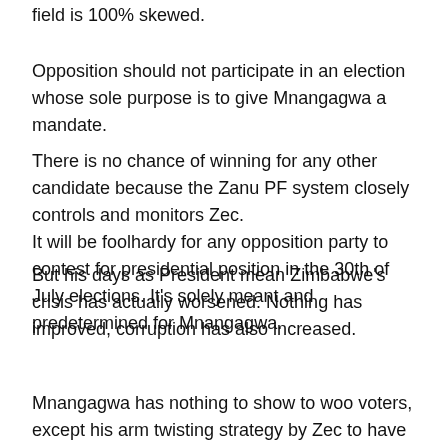field is 100% skewed.
Opposition should not participate in an election whose sole purpose is to give Mnangagwa a mandate.
There is no chance of winning for any other candidate because the Zanu PF system closely controls and monitors Zec.
It will be foolhardy for any opposition party to contest for presidential position in the 30th of July elections. It's solely meant and predetermined for Mnangagwa.
But his days as President mean Zimbabwe's crisis has actually worsened. Nothing has improved, corruption has also increased.
Mnangagwa has nothing to show to woo voters, except his arm twisting strategy by Zec to have him re-imposed.